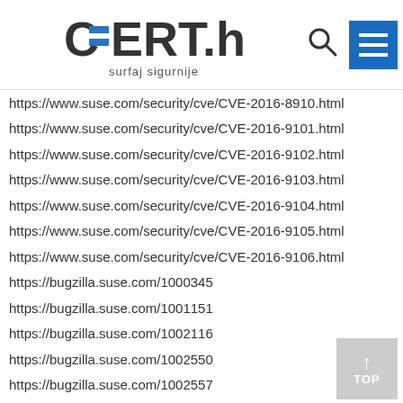CERT.hr surfaj sigurnije
https://www.suse.com/security/cve/CVE-2016-8910.html
https://www.suse.com/security/cve/CVE-2016-9101.html
https://www.suse.com/security/cve/CVE-2016-9102.html
https://www.suse.com/security/cve/CVE-2016-9103.html
https://www.suse.com/security/cve/CVE-2016-9104.html
https://www.suse.com/security/cve/CVE-2016-9105.html
https://www.suse.com/security/cve/CVE-2016-9106.html
https://bugzilla.suse.com/1000345
https://bugzilla.suse.com/1001151
https://bugzilla.suse.com/1002116
https://bugzilla.suse.com/1002550
https://bugzilla.suse.com/1002557
https://bugzilla.suse.com/1003878
https://bugzilla.suse.com/1003893
https://bugzilla.suse.com/1003894
https://bugzilla.suse.com/1004702
https://bugzilla.suse.com/1004707
https://bugzilla.suse.com/1006536